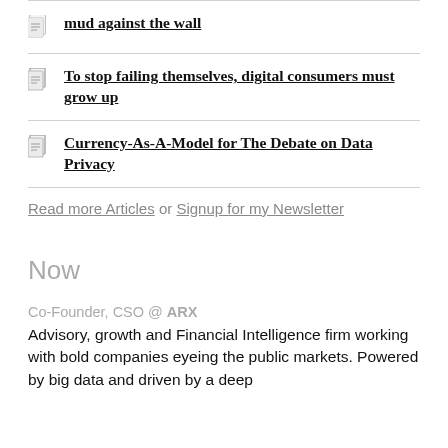mud against the wall
To stop failing themselves, digital consumers must grow up
Currency-As-A-Model for The Debate on Data Privacy
Read more Articles or Signup for my Newsletter
Now
Co-Founder, CSO @ ARX
Advisory, growth and Financial Intelligence firm working with bold companies eyeing the public markets. Powered by big data and driven by a deep